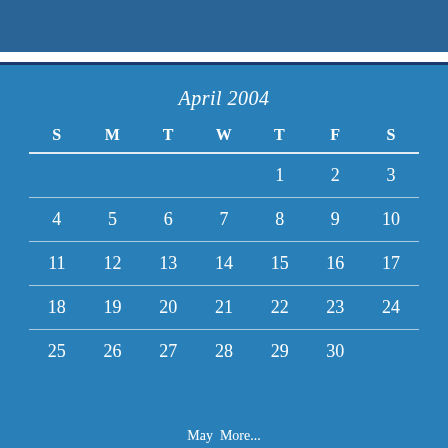[Figure (other): Dark blue top banner bar]
April 2004
| S | M | T | W | T | F | S |
| --- | --- | --- | --- | --- | --- | --- |
|  |  |  |  | 1 | 2 | 3 |
| 4 | 5 | 6 | 7 | 8 | 9 | 10 |
| 11 | 12 | 13 | 14 | 15 | 16 | 17 |
| 18 | 19 | 20 | 21 | 22 | 23 | 24 |
| 25 | 26 | 27 | 28 | 29 | 30 |  |
May More...